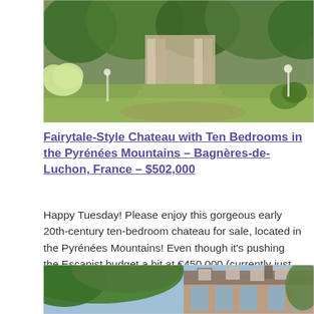[Figure (photo): Exterior view of a chateau grounds with stone staircase, green lawn, trees, hydrangea bushes, and ornamental shrubs in a garden setting]
Fairytale-Style Chateau with Ten Bedrooms in the Pyrénées Mountains – Bagnères-de-Luchon, France – $502,000
Happy Tuesday! Please enjoy this gorgeous early 20th-century ten-bedroom chateau for sale, located in the Pyrénées Mountains! Even though it's pushing the Escapist budget a bit at €450.000 (currently just over $500K), it's stunning and worth the share.
[Figure (photo): Exterior view of a large chateau building with mansard roof, dormer windows, and brick/stone facade seen through tree branches]